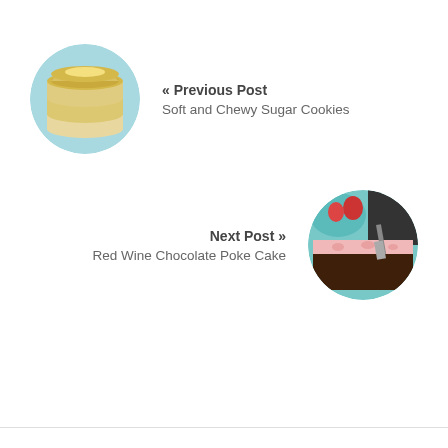[Figure (photo): Circular photo of stacked soft and chewy sugar cookies on a light blue background]
« Previous Post
Soft and Chewy Sugar Cookies
Next Post »
Red Wine Chocolate Poke Cake
[Figure (photo): Circular photo of a Red Wine Chocolate Poke Cake with pink frosting and strawberries]